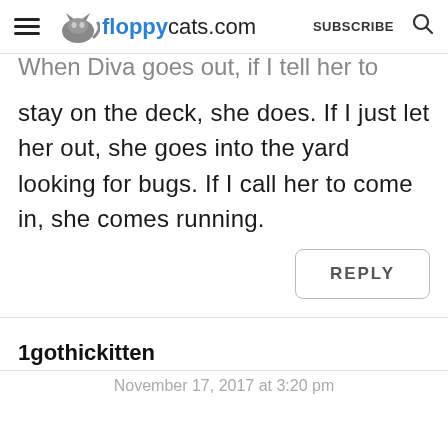floppycats.com  SUBSCRIBE
When Diva goes out, if I tell her to stay on the deck, she does. If I just let her out, she goes into the yard looking for bugs. If I call her to come in, she comes running.
REPLY
1gothickitten
November 17, 2017 at 3:20 pm